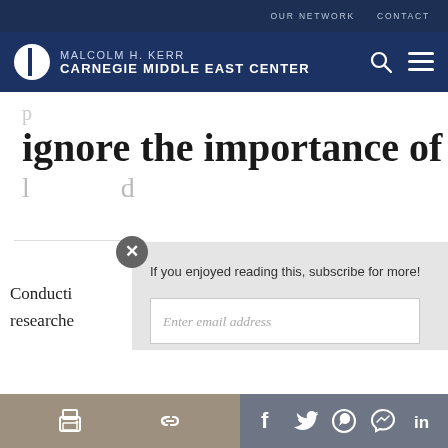OUR NETWORK   CONTACT
[Figure (logo): Malcolm H. Kerr Carnegie Middle East Center logo with circular icon]
ignore the importance of
If you enjoyed reading this, subscribe for more!
Enter email address
Submit
Conducti
researche
[Figure (screenshot): Bottom share/social media bar with print, link, Facebook, Twitter, WhatsApp, Messenger, LinkedIn icons]